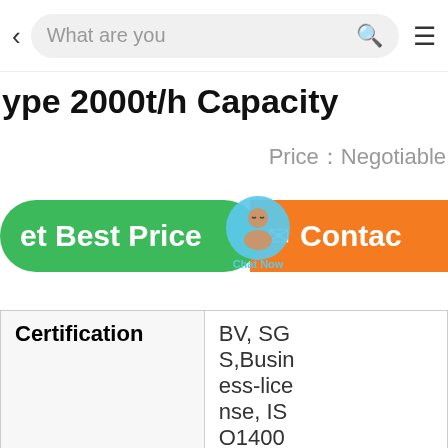< What are you [search bar] [menu icon]
ype 2000t/h Capacity
Price：Negotiable
[Figure (screenshot): Two action buttons: green 'Get Best Price' button on left, orange 'Contact' button on right, with a 'Chat Now' chat bubble widget overlapping in the center]
| Certification | BV, SGS,Business-license, ISO14000:2015 |
|  |  |